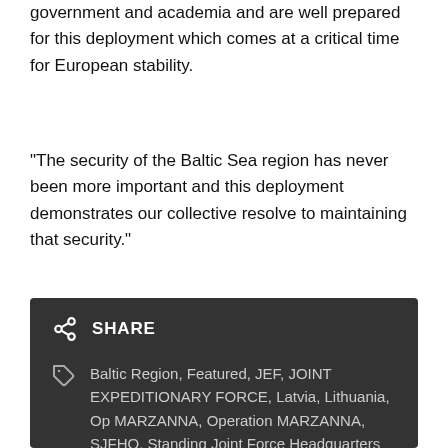government and academia and are well prepared for this deployment which comes at a critical time for European stability.
“The security of the Baltic Sea region has never been more important and this deployment demonstrates our collective resolve to maintaining that security.”
~
SHARE
Baltic Region, Featured, JEF, JOINT EXPEDITIONARY FORCE, Latvia, Lithuania, Op MARZANNA, Operation MARZANNA, SJFHQ, Standing Joint Force Headquarters